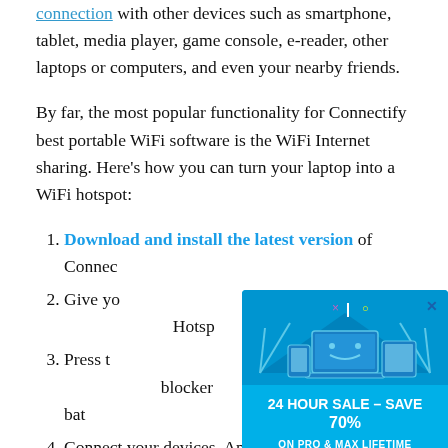connection with other devices such as smartphone, tablet, media player, game console, e-reader, other laptops or computers, and even your nearby friends.
By far, the most popular functionality for Connectify best portable WiFi software is the WiFi Internet sharing. Here's how you can turn your laptop into a WiFi hotspot:
Download and install the latest version of Connectify...
Give you... Hotspot...
Press t... Internet... blocker... and bat...
Connect your devices. Any WiFi enabled devices can
[Figure (screenshot): Popup advertisement: blue background with illustration of devices (phone, laptop, tablet), close button (x) in top right, text '24 HOUR SALE - SAVE 70% ON PRO & MAX LIFETIME LICENSES', and green button 'Click Here to Apply Coupon']